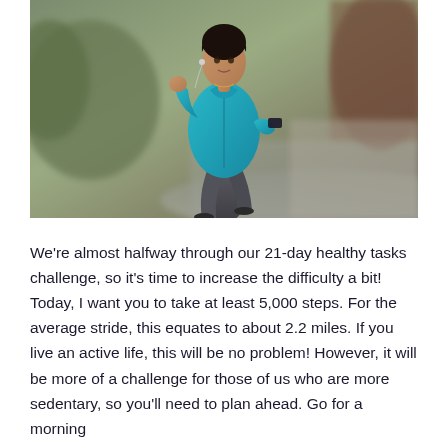[Figure (photo): A woman in a teal/turquoise zip-up jacket and dark grey leggings jogging on an outdoor path. She is wearing earbuds and has a phone armband. The background is a blurred outdoor scene with trees and a road.]
We're almost halfway through our 21-day healthy tasks challenge, so it's time to increase the difficulty a bit! Today, I want you to take at least 5,000 steps. For the average stride, this equates to about 2.2 miles. If you live an active life, this will be no problem! However, it will be more of a challenge for those of us who are more sedentary, so you'll need to plan ahead. Go for a morning